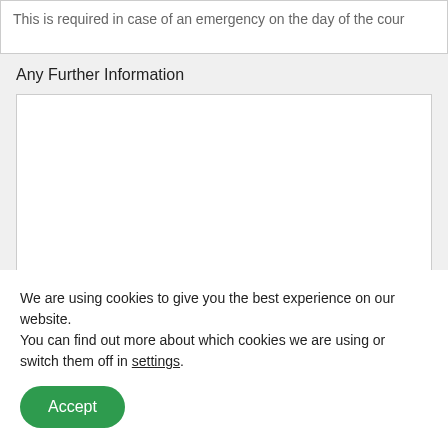This is required in case of an emergency on the day of the cour
Any Further Information
[Figure (other): Empty textarea input field with resize handle]
We are using cookies to give you the best experience on our website.
You can find out more about which cookies we are using or switch them off in settings.
Accept